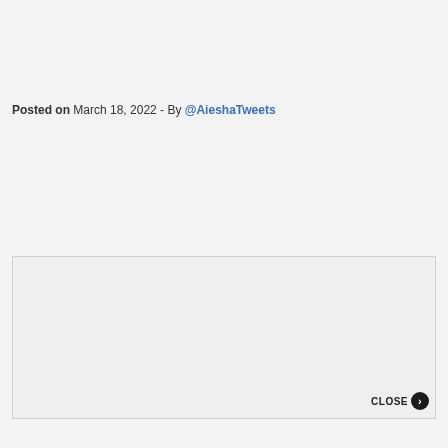Posted on March 18, 2022 - By @AieshaTweets
[Figure (other): An embedded content box with a light gray background and a CLOSE button with arrow in the bottom-right corner.]